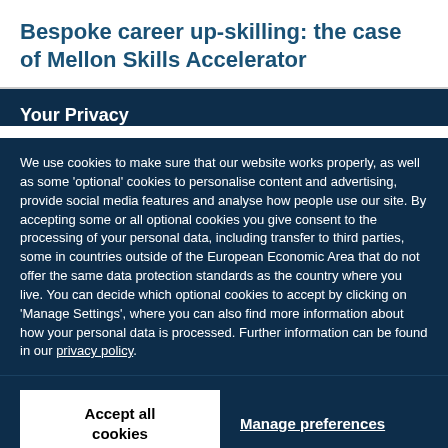Bespoke career up-skilling: the case of Mellon Skills Accelerator
Your Privacy
We use cookies to make sure that our website works properly, as well as some 'optional' cookies to personalise content and advertising, provide social media features and analyse how people use our site. By accepting some or all optional cookies you give consent to the processing of your personal data, including transfer to third parties, some in countries outside of the European Economic Area that do not offer the same data protection standards as the country where you live. You can decide which optional cookies to accept by clicking on 'Manage Settings', where you can also find more information about how your personal data is processed. Further information can be found in our privacy policy.
Accept all cookies
Manage preferences